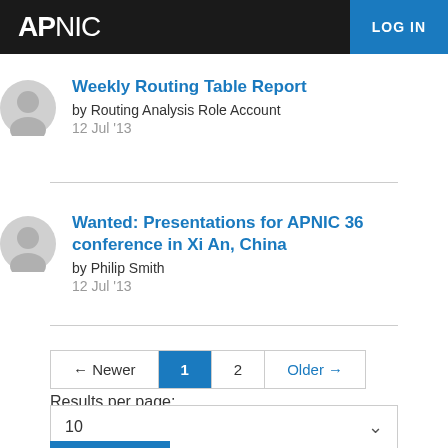APNIC | LOG IN
Weekly Routing Table Report
by Routing Analysis Role Account
12 Jul '13
Wanted: Presentations for APNIC 36 conference in Xi An, China
by Philip Smith
12 Jul '13
← Newer  1  2  Older →
Results per page:
10
Update